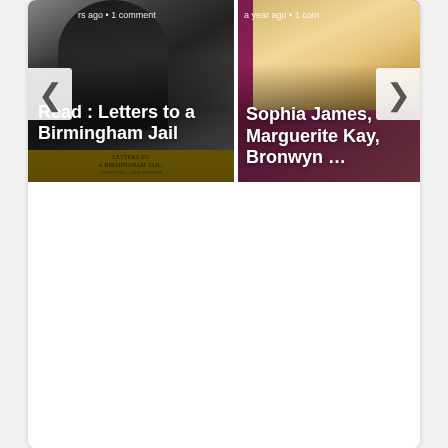[Figure (screenshot): A webpage screenshot showing a content slider/carousel with two partially visible article cards. Left card shows a grayscale image of a book 'Letters to a Birmingham Jail' with text overlay. Right card shows a colorful book cover with pink/maroon background. Navigation arrows (< and >) visible on left and right sides.]
rs ago · 1 comment
Read : Letters to a Birmingham Jail
a year ago · 1 com...
Sophia James, Marguerite Kay, Bronwyn ...